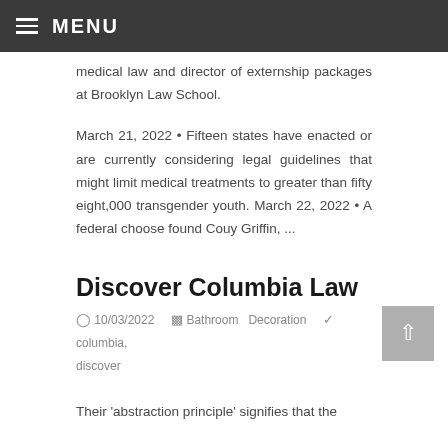MENU
medical law and director of externship packages at Brooklyn Law School.
March 21, 2022 • Fifteen states have enacted or are currently considering legal guidelines that might limit medical treatments to greater than fifty eight,000 transgender youth. March 22, 2022 • A federal choose found Couy Griffin, ...
Discover Columbia Law
10/03/2022   Bathroom Decoration   columbia, discover
Their 'abstraction principle' signifies that the